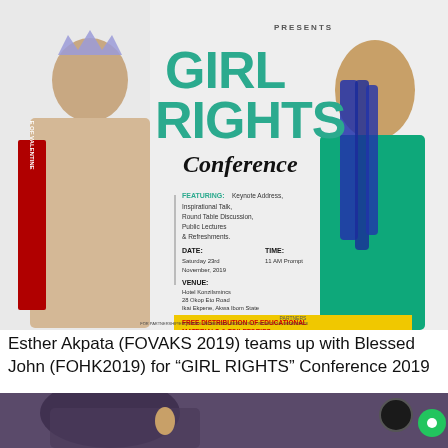[Figure (infographic): Girl Rights Conference 2019 promotional flyer featuring two women, conference details including date Saturday 23rd November 2019, venue Hotel Konzilsmincs 28 Okop Eto Road Ikai Ekpene Akwa Ibom State, time 11 AM Prompt, featuring keynote address, inspirational talk, round table discussion, public lectures and refreshments. Yellow banner: Free Distribution of Educational Materials & Toiletories. Partners logos shown at bottom. For partnership/enquiries phone numbers listed.]
Esther Akpata (FOVAKS 2019) teams up with Blessed John (FOHK2019) for "GIRL RIGHTS" Conference 2019
[Figure (photo): Bottom portion of page showing a person in dark/purple background, partially visible. A logo circle and a green circle icon visible on right side.]